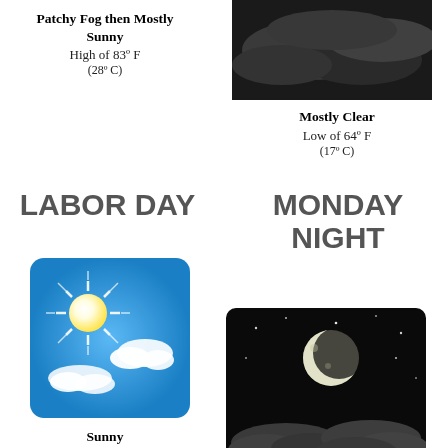Patchy Fog then Mostly Sunny
High of 83° F
(28° C)
[Figure (photo): Night sky with clouds (top right, partially cropped)]
Mostly Clear
Low of 64° F
(17° C)
LABOR DAY
MONDAY NIGHT
[Figure (illustration): Sunny sky with bright sun and clouds (blue sky background)]
Sunny
High of 83° F
(28° C)
[Figure (illustration): Night sky with moon and clouds]
Mostly Clear
Low of 65° F
(18° C)
TUESDAY
TUESDAY NIGHT
[Figure (illustration): Sunny sky with bright sun and clouds (partially cropped at bottom)]